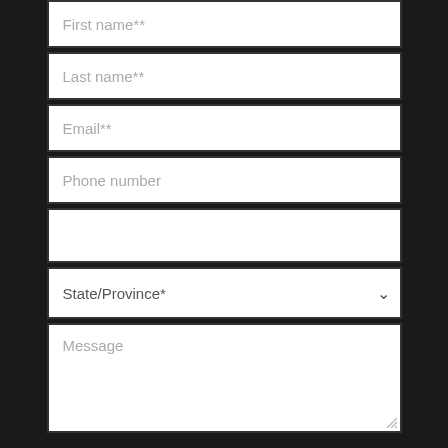First name**
Last name**
Email**
Phone number
State/Province*
Message
Subscribe to our email list to receive blog updates, product news & more
SEND